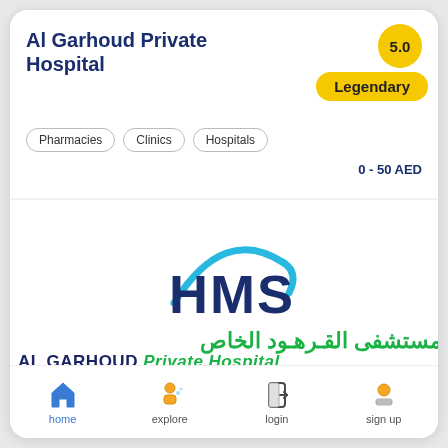Al Garhoud Private Hospital
5.0
Legendary
Pharmacies
Clinics
Hospitals
0 - 50 AED
[Figure (logo): HMS logo with blue arc and dark blue HMS text, above Arabic text 'مستشفى القرهود الخاص' and English text 'AL GARHOUD Private Hospital' in green]
Open Now
home  explore  login  sign up